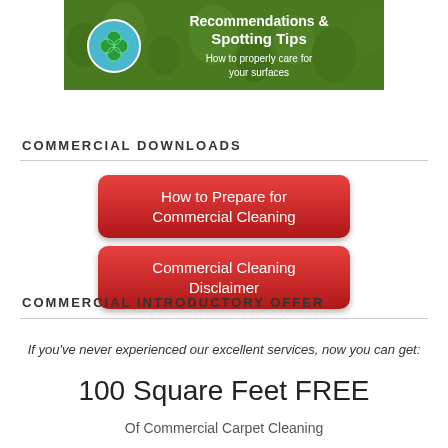[Figure (illustration): Banner with green grass texture background, a blue four-leaf clover icon on the left, and white text reading 'Recommendations & Spotting Tips' and 'How to properly care for your surfaces']
COMMERCIAL DOWNLOADS
[Figure (infographic): Two red rounded rectangle buttons: 'How to Prepare for Commercial Cleaning' and 'Commercial Cleaning Disclaimer']
COMMERCIAL INTRODUCTORY OFFER
If you've never experienced our excellent services, now you can get:
100 Square Feet FREE
Of Commercial Carpet Cleaning